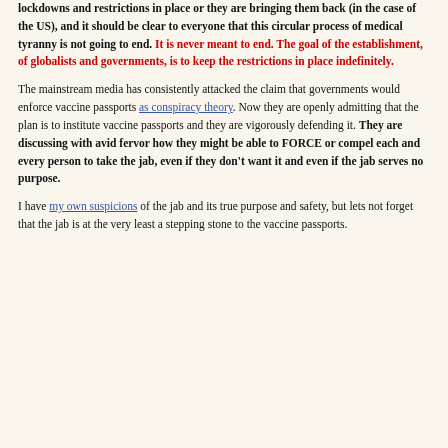lockdowns and restrictions in place or they are bringing them back (in the case of the US), and it should be clear to everyone that this circular process of medical tyranny is not going to end. It is never meant to end. The goal of the establishment, of globalists and governments, is to keep the restrictions in place indefinitely.
The mainstream media has consistently attacked the claim that governments would enforce vaccine passports as conspiracy theory. Now they are openly admitting that the plan is to institute vaccine passports and they are vigorously defending it. They are discussing with avid fervor how they might be able to FORCE or compel each and every person to take the jab, even if they don't want it and even if the jab serves no purpose.
I have my own suspicions of the jab and its true purpose and safety, but lets not forget that the jab is at the very least a stepping stone to the vaccine passports.